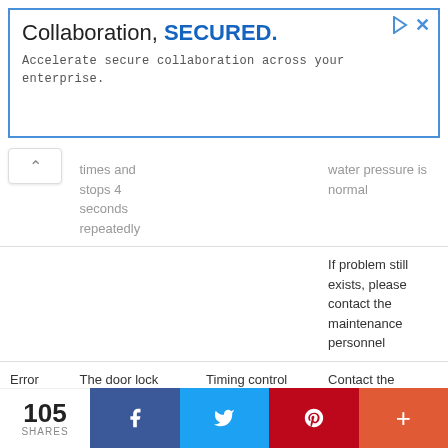[Figure (other): Advertisement banner: 'Collaboration, SECURED. Accelerate secure collaboration across your enterprise.']
|  | Symptom | Cause | Solution |
| --- | --- | --- | --- |
|  | times and stops 4 seconds repeatedly |  | water pressure is normal |
|  |  |  | If problem still exists, please contact the maintenance personnel |
| Error 6 | The door lock light glitters 6 times and stops 4 seconds | Timing control silicon damage | Contact the maintenance personnel |
105 SHARES